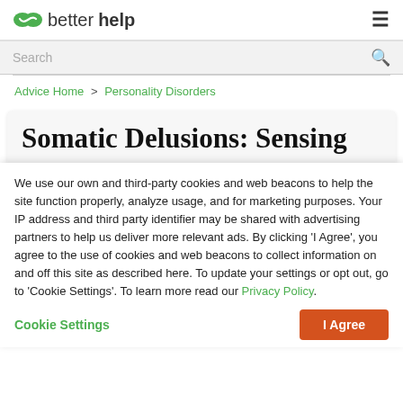betterhelp
Search
Advice Home > Personality Disorders
Somatic Delusions: Sensing
We use our own and third-party cookies and web beacons to help the site function properly, analyze usage, and for marketing purposes. Your IP address and third party identifier may be shared with advertising partners to help us deliver more relevant ads. By clicking 'I Agree', you agree to the use of cookies and web beacons to collect information on and off this site as described here. To update your settings or opt out, go to 'Cookie Settings'. To learn more read our Privacy Policy.
Cookie Settings
I Agree